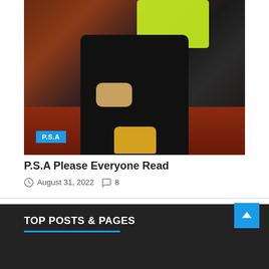[Figure (photo): Person sitting on wooden steps wearing black leggings, yellow/green top and yellow boots. A blue P.S.A badge overlay is visible in the lower-left corner of the image.]
P.S.A Please Everyone Read
August 31, 2022  8
TOP POSTS & PAGES